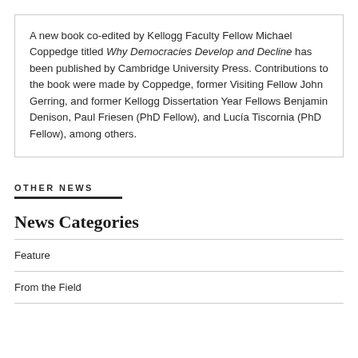A new book co-edited by Kellogg Faculty Fellow Michael Coppedge titled Why Democracies Develop and Decline has been published by Cambridge University Press. Contributions to the book were made by Coppedge, former Visiting Fellow John Gerring, and former Kellogg Dissertation Year Fellows Benjamin Denison, Paul Friesen (PhD Fellow), and Lucía Tiscornia (PhD Fellow), among others.
OTHER NEWS
News Categories
Feature
From the Field